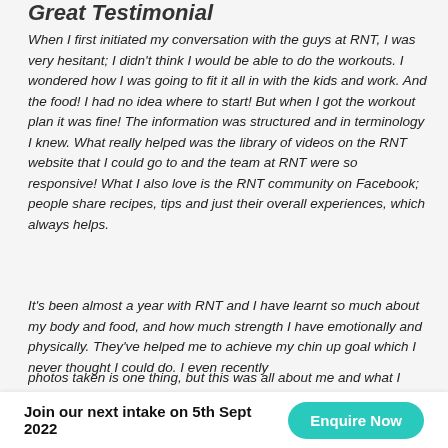Great Testimonial
When I first initiated my conversation with the guys at RNT, I was very hesitant; I didn't think I would be able to do the workouts. I wondered how I was going to fit it all in with the kids and work. And the food! I had no idea where to start! But when I got the workout plan it was fine! The information was structured and in terminology I knew. What really helped was the library of videos on the RNT website that I could go to and the team at RNT were so responsive! What I also love is the RNT community on Facebook; people share recipes, tips and just their overall experiences, which always helps.
It's been almost a year with RNT and I have learnt so much about my body and food, and how much strength I have emotionally and physically. They've helped me to achieve my chin up goal which I never thought I could do. I even recently
photos taken is one thing, but this was all about me and what I
Join our next intake on 5th Sept 2022  Enquire Now